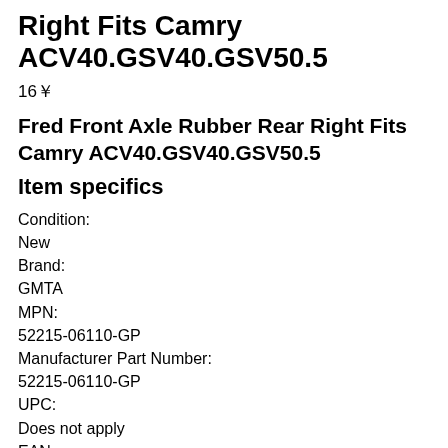Right Fits Camry ACV40.GSV40.GSV50.5
16￥
Fred Front Axle Rubber Rear Right Fits Camry ACV40.GSV40.GSV50.5
Item specifics
Condition:
New
Brand:
GMTA
MPN:
52215-06110-GP
Manufacturer Part Number:
52215-06110-GP
UPC:
Does not apply
EAN:
Does not apply